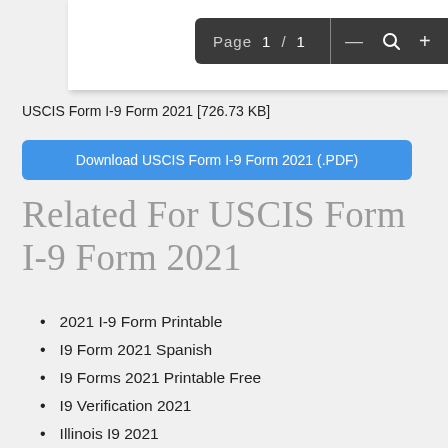[Figure (screenshot): PDF viewer toolbar showing 'Page 1 / 1' with zoom controls (minus, magnify, plus) on dark background]
USCIS Form I-9 Form 2021 [726.73 KB]
Download USCIS Form I-9 Form 2021 (.PDF)
Related For USCIS Form I-9 Form 2021
2021 I-9 Form Printable
I9 Form 2021 Spanish
I9 Forms 2021 Printable Free
I9 Verification 2021
Illinois I9 2021